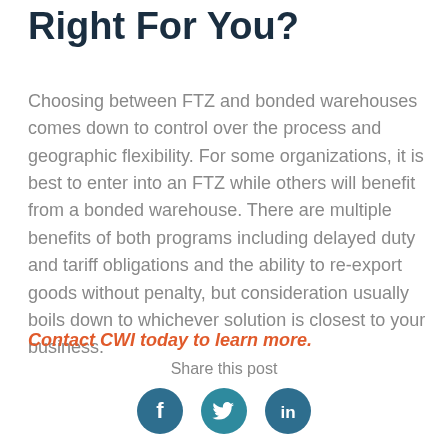Right For You?
Choosing between FTZ and bonded warehouses comes down to control over the process and geographic flexibility. For some organizations, it is best to enter into an FTZ while others will benefit from a bonded warehouse. There are multiple benefits of both programs including delayed duty and tariff obligations and the ability to re-export goods without penalty, but consideration usually boils down to whichever solution is closest to your business.
Contact CWI today to learn more.
Share this post
[Figure (illustration): Three social media icon buttons: Facebook (f), Twitter (bird), LinkedIn (in), all in dark teal/blue circular icons]